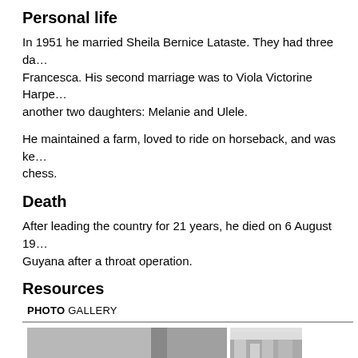Personal life
In 1951 he married Sheila Bernice Lataste. They had three da... Francesca. His second marriage was to Viola Victorine Harpe... another two daughters: Melanie and Ulele.
He maintained a farm, loved to ride on horseback, and was ke... chess.
Death
After leading the country for 21 years, he died on 6 August 19... Guyana after a throat operation.
Resources
PHOTO GALLERY
[Figure (photo): Black and white photo of a group of people at what appears to be an official ceremony or gathering, with a person speaking at a podium.]
[Figure (photo): Black and white photo showing a partial view of another scene, possibly outdoors near a building.]